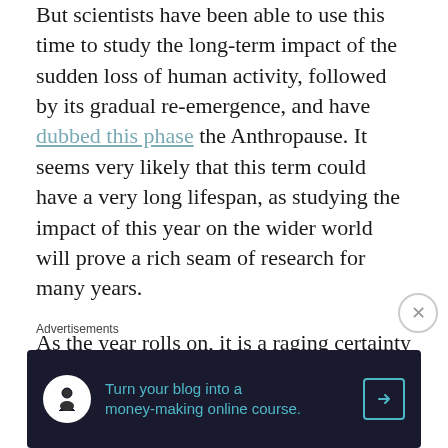But scientists have been able to use this time to study the long-term impact of the sudden loss of human activity, followed by its gradual re-emergence, and have dubbed this phase the Anthropause. It seems very likely that this term could have a very long lifespan, as studying the impact of this year on the wider world will prove a rich seam of research for many years.

As the year rolls on, it is a raging certainty that new words will continue to emerge to encapsulate the phases of the pandemic
Advertisements
[Figure (other): Advertisement banner: dark navy background with a white circular icon showing a person/tree symbol, teal text reading 'Turn your blog into a money-making online course.' with a teal arrow button on the right.]